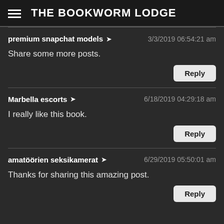THE BOOKWORM LODGE
premium snapchat models → 3/3/2019 06:54:21 am
Share some more posts.
Marbella escorts → 6/18/2019 04:29:18 am
I really like this book.
amatöörien seksikamerat → 6/29/2019 05:50:01 am
Thanks for sharing this amazing post.